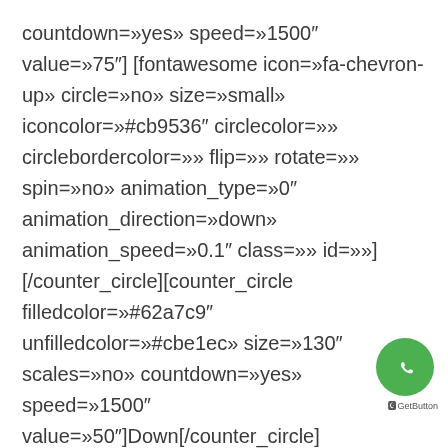countdown=»yes» speed=»1500" value=»75"] [fontawesome icon=»fa-chevron-up» circle=»no» size=»small» iconcolor=»#cb9536" circlecolor=»» circlebordercolor=»» flip=»» rotate=»» spin=»no» animation_type=»0" animation_direction=»down» animation_speed=»0.1" class=»» id=»»] [/counter_circle][counter_circle filledcolor=»#62a7c9" unfilledcolor=»#cbe1ec» size=»130" scales=»no» countdown=»yes» speed=»1500" value=»50"]Down[/counter_circle][counter_circle filledcolor=»#62a7c9" unfilledcolor=»#cbe1ec» size=»130" scales=»no» countdown=»no» speed=»1500" value=»90"][fontawesome icon=»chevron-down» circle=»no» size=»small»